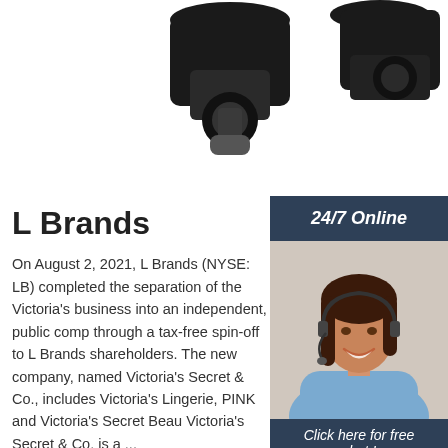[Figure (photo): Camera parts/accessories on white background, partially cropped at top]
L Brands
On August 2, 2021, L Brands (NYSE: LB) completed the separation of the Victoria's business into an independent, public comp through a tax-free spin-off to L Brands shareholders. The new company, named Victoria's Secret & Co., includes Victoria's Lingerie, PINK and Victoria's Secret Beau Victoria's Secret & Co. is a ...
[Figure (photo): 24/7 Online sidebar with woman wearing headset (customer service representative), with 'Click here for free chat!' text and QUOTATION button]
Get Price